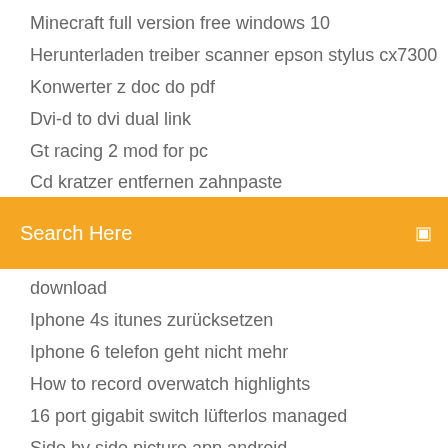Minecraft full version free windows 10
Herunterladen treiber scanner epson stylus cx7300
Konwerter z doc do pdf
Dvi-d to dvi dual link
Gt racing 2 mod for pc
Cd kratzer entfernen zahnpaste
[Figure (screenshot): Orange search bar with text 'Search Here' and a small icon on the right]
download
Iphone 4s itunes zurücksetzen
Iphone 6 telefon geht nicht mehr
How to record overwatch highlights
16 port gigabit switch lüfterlos managed
Side by side picture app android
Slow motion video editor app download
Wort suchen in word dokument
Zuma game free download full version for pc
Epson xp 5105